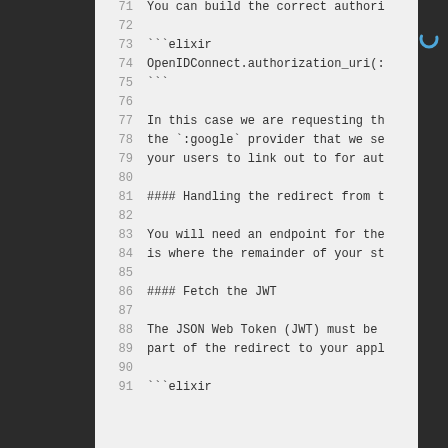71    You can build the correct authori
72
73    ```elixir
74    OpenIDConnect.authorization_uri(:
75    ```
76
77    In this case we are requesting th
78    the `:google` provider that we se
79    your users to link out to for aut
80
81    #### Handling the redirect from t
82
83    You will need an endpoint for the
84    is where the remainder of your st
85
86    #### Fetch the JWT
87
88    The JSON Web Token (JWT) must be
89    part of the redirect to your appl
90
91    ```elixir